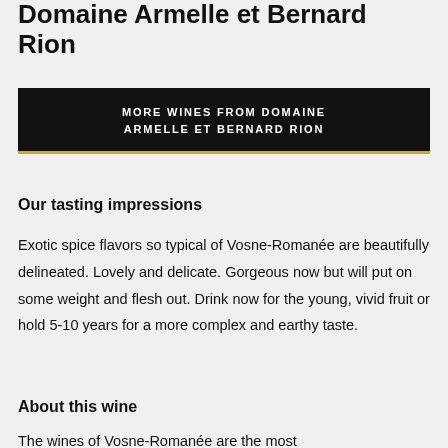Domaine Armelle et Bernard Rion
MORE WINES FROM DOMAINE ARMELLE ET BERNARD RION
Our tasting impressions
Exotic spice flavors so typical of Vosne-Romanée are beautifully delineated. Lovely and delicate. Gorgeous now but will put on some weight and flesh out. Drink now for the young, vivid fruit or hold 5-10 years for a more complex and earthy taste.
About this wine
The wines of Vosne-Romanée are the most